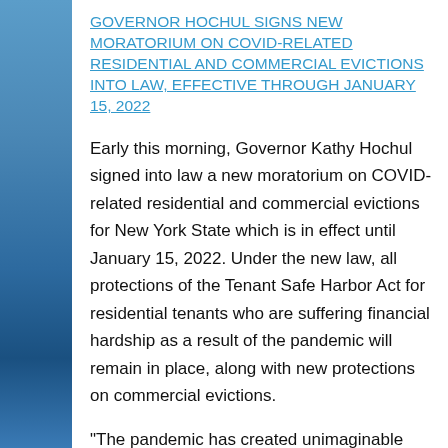GOVERNOR HOCHUL SIGNS NEW MORATORIUM ON COVID-RELATED RESIDENTIAL AND COMMERCIAL EVICTIONS INTO LAW, EFFECTIVE THROUGH JANUARY 15, 2022
Early this morning, Governor Kathy Hochul signed into law a new moratorium on COVID-related residential and commercial evictions for New York State which is in effect until January 15, 2022. Under the new law, all protections of the Tenant Safe Harbor Act for residential tenants who are suffering financial hardship as a result of the pandemic will remain in place, along with new protections on commercial evictions.
"The pandemic has created unimaginable